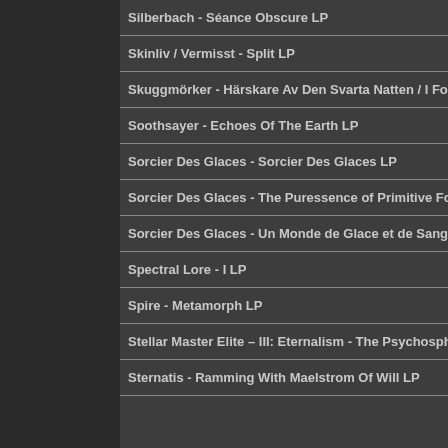Silberbach - Séance Obscure LP
Skinliv / Vermisst - Split LP
Skuggmörker - Härskare Av Den Svarta Natten / I Forgången Tid
Soothsayer - Echoes Of The Earth LP
Sorcier Des Glaces - Sorcier Des Glaces LP
Sorcier Des Glaces - The Puressence of Primitive Forests LP
Sorcier Des Glaces - Un Monde de Glace et de Sang/Ghastly Mer
Spectral Lore - I LP
Spire - Metamorph LP
Stellar Master Elite – III: Eternalism - The Psychospherical Chapt
Sternatis - Ramming With Maelstrom Of Will LP